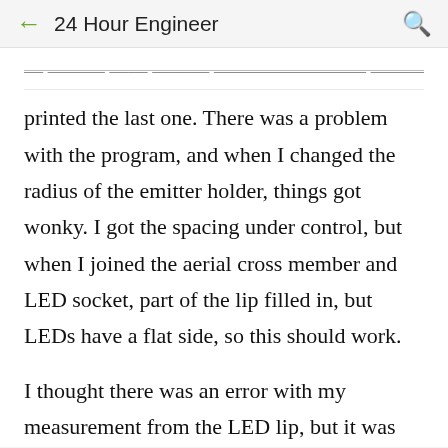← 24 Hour Engineer 🔍
...printed the last one. There was a problem with the program, and when I changed the radius of the emitter holder, things got wonky. I got the spacing under control, but when I joined the aerial cross member and LED socket, part of the lip filled in, but LEDs have a flat side, so this should work.
I thought there was an error with my measurement from the LED lip, but it was already accurate. I could barely make the emitters fit into their sockets before, so I enlarged the lip a tiny